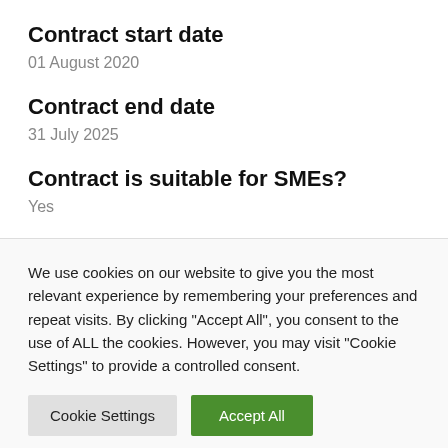Contract start date
01 August 2020
Contract end date
31 July 2025
Contract is suitable for SMEs?
Yes
We use cookies on our website to give you the most relevant experience by remembering your preferences and repeat visits. By clicking "Accept All", you consent to the use of ALL the cookies. However, you may visit "Cookie Settings" to provide a controlled consent.